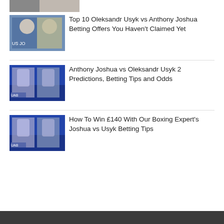[Figure (photo): Partial top image of boxing/sports related content, cropped at top]
[Figure (photo): Two boxers facing off before fight - Usyk vs Joshua promotional photo]
Top 10 Oleksandr Usyk vs Anthony Joshua Betting Offers You Haven't Claimed Yet
[Figure (photo): Boxing match action shot - Anthony Joshua vs Oleksandr Usyk in ring]
Anthony Joshua vs Oleksandr Usyk 2 Predictions, Betting Tips and Odds
[Figure (photo): Boxing match action shot - Joshua vs Usyk in ring, similar to previous]
How To Win £140 With Our Boxing Expert's Joshua vs Usyk Betting Tips